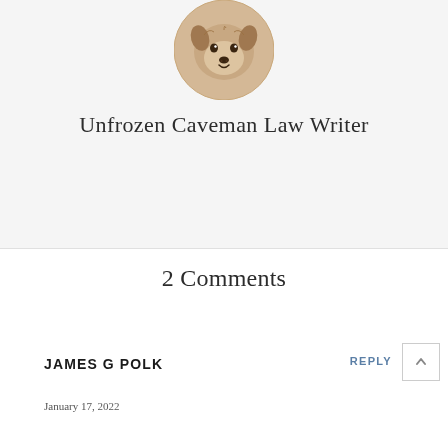[Figure (illustration): Circular illustration of a dog's face (appears to be a drawing/painting of a smiling dog with brown tones) used as a blog logo/avatar]
Unfrozen Caveman Law Writer
2 Comments
JAMES G POLK
REPLY
January 17, 2022